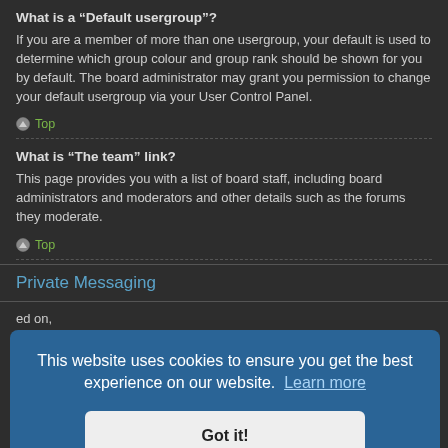What is a “Default usergroup”?
If you are a member of more than one usergroup, your default is used to determine which group colour and group rank should be shown for you by default. The board administrator may grant you permission to change your default usergroup via your User Control Panel.
Top
What is “The team” link?
This page provides you with a list of board staff, including board administrators and moderators and other details such as the forums they moderate.
Top
Private Messaging
This website uses cookies to ensure you get the best experience on our website.  Learn more
Got it!
I keep getting unwanted private messages!